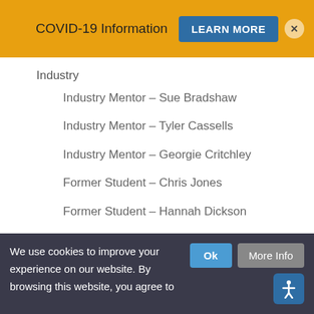COVID-19 Information  LEARN MORE  ×
Industry
Industry Mentor – Sue Bradshaw
Industry Mentor – Tyler Cassells
Industry Mentor – Georgie Critchley
Former Student – Chris Jones
Former Student – Hannah Dickson
Former Student – Emma Hazell
Need to get in touch?
We use cookies to improve your experience on our website. By browsing this website, you agree to